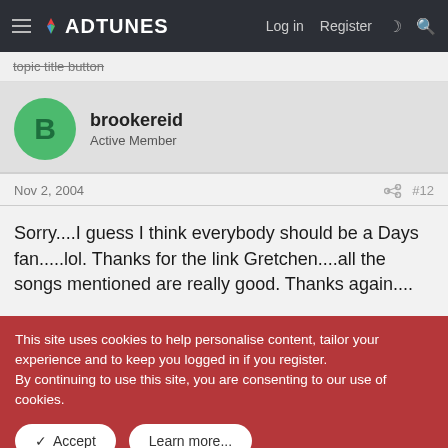ADTUNES  Log in  Register
topic title button
brookereid
Active Member
Nov 2, 2004  #12
Sorry....I guess I think everybody should be a Days fan.....lol. Thanks for the link Gretchen....all the songs mentioned are really good. Thanks again....
This site uses cookies to help personalise content, tailor your experience and to keep you logged in if you register.
By continuing to use this site, you are consenting to our use of cookies.
✓ Accept   Learn more...